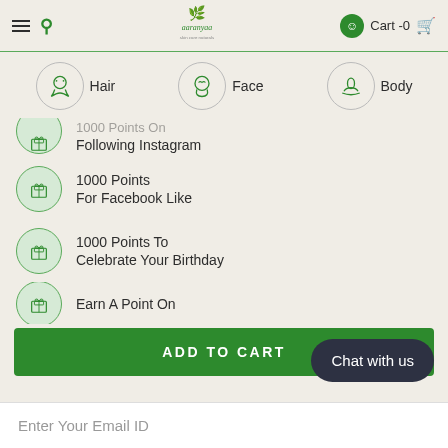Aaranyaa — Cart -0
Hair
Face
Body
1000 Points On Following Instagram
1000 Points For Facebook Like
1000 Points To Celebrate Your Birthday
Earn A Point On
ADD TO CART
Chat with us
Enter Your Email ID